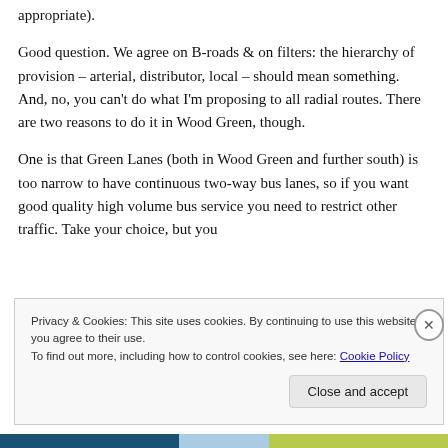appropriate).
Good question. We agree on B-roads & on filters: the hierarchy of provision – arterial, distributor, local – should mean something. And, no, you can't do what I'm proposing to all radial routes. There are two reasons to do it in Wood Green, though.
One is that Green Lanes (both in Wood Green and further south) is too narrow to have continuous two-way bus lanes, so if you want good quality high volume bus service you need to restrict other traffic. Take your choice, but you
Privacy & Cookies: This site uses cookies. By continuing to use this website, you agree to their use.
To find out more, including how to control cookies, see here: Cookie Policy
Close and accept